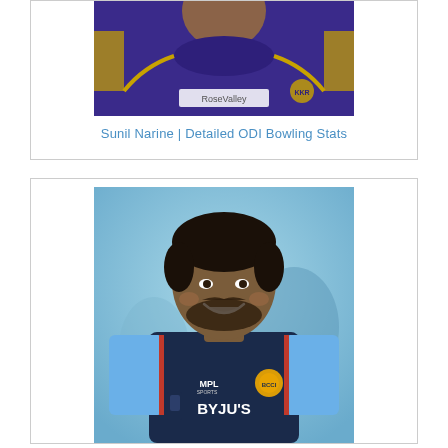[Figure (photo): Sunil Narine in purple and gold KKR jersey, cropped to chest, partial view]
Sunil Narine | Detailed ODI Bowling Stats
[Figure (photo): Smiling cricketer in dark navy BYJU'S MPL India jersey, outdoor blurred background]